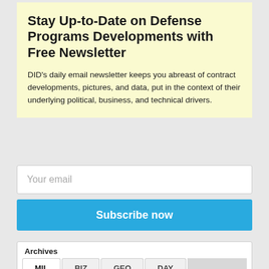Stay Up-to-Date on Defense Programs Developments with Free Newsletter
DID's daily email newsletter keeps you abreast of contract developments, pictures, and data, put in the context of their underlying political, business, and technical drivers.
Your email
Subscribe now
Archives
MIL | BIZ | GEO | DAY
Aircraft